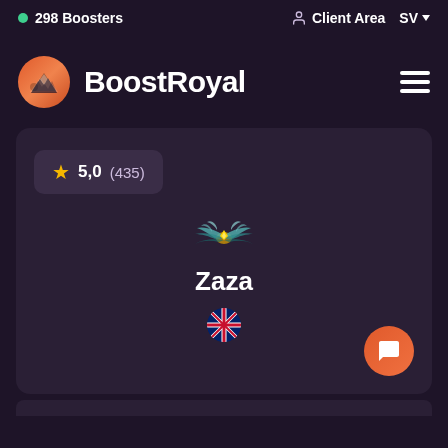298 Boosters   Client Area   SV
BoostRoyal
5,0 (435)
[Figure (illustration): Golden winged rank emblem icon above the name Zaza]
Zaza
[Figure (illustration): UK flag emoji]
[Figure (illustration): Orange circular chat/message button in bottom right of card]